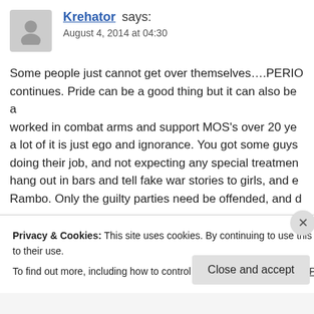Krehator says:
August 4, 2014 at 04:30
Some people just cannot get over themselves....PERIOD. continues. Pride can be a good thing but it can also be a worked in combat arms and support MOS's over 20 ye a lot of it is just ego and ignorance. You got some guys doing their job, and not expecting any special treatmen hang out in bars and tell fake war stories to girls, and e Rambo. Only the guilty parties need be offended, and d
If you cannot get over yourself, the military probably is oriented job. One team, one fight. No room for egos an spend your life reliving stories like some has-been high
Privacy & Cookies: This site uses cookies. By continuing to use this website, you agree to their use.
To find out more, including how to control cookies, see here: Cookie Policy
Close and accept